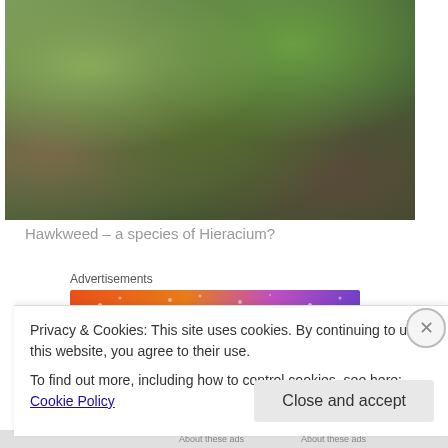[Figure (photo): Close-up photograph of hawkweed plant with small green leaves and stones on the ground]
Hawkweed – a species of Hieracium?
[Figure (other): Advertisement banner: FANDOM ON tumblr with colorful gradient background]
I think they're a species of hawkweed (Hieracium) but since there are at least 800 species I'm not going to try to
Privacy & Cookies: This site uses cookies. By continuing to use this website, you agree to their use. To find out more, including how to control cookies, see here: Cookie Policy
Close and accept